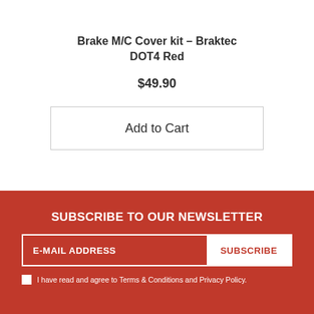Brake M/C Cover kit – Braktec DOT4 Red
$49.90
Add to Cart
SUBSCRIBE TO OUR NEWSLETTER
E-MAIL ADDRESS
SUBSCRIBE
I have read and agree to Terms & Conditions and Privacy Policy.